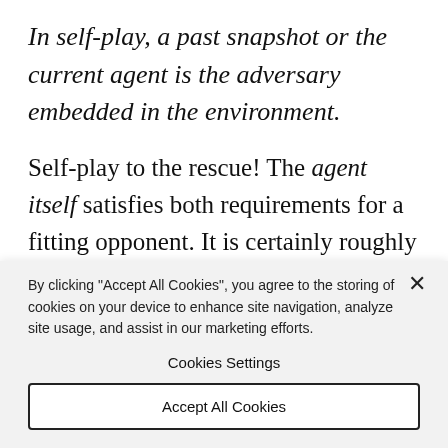In self-play, a past snapshot or the current agent is the adversary embedded in the environment.
Self-play to the rescue! The agent itself satisfies both requirements for a fitting opponent. It is certainly roughly equal in skill (to itself) and also
[Figure (screenshot): Cookie consent popup overlay with close button (×), descriptive text about cookie usage, a 'Cookies Settings' button, and an 'Accept All Cookies' button.]